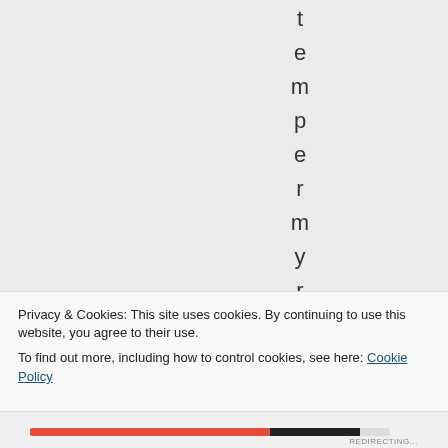t e m p e r m y r e m
Privacy & Cookies: This site uses cookies. By continuing to use this website, you agree to their use.
To find out more, including how to control cookies, see here: Cookie Policy
Close and accept